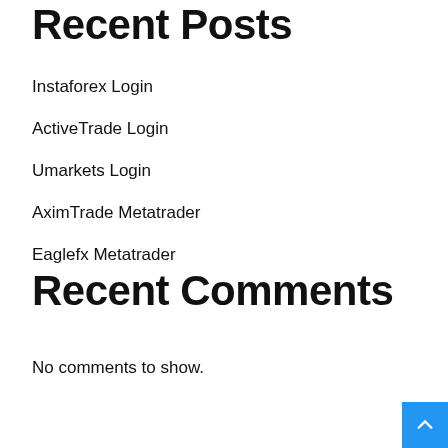Recent Posts
Instaforex Login
ActiveTrade Login
Umarkets Login
AximTrade Metatrader
Eaglefx Metatrader
Recent Comments
No comments to show.